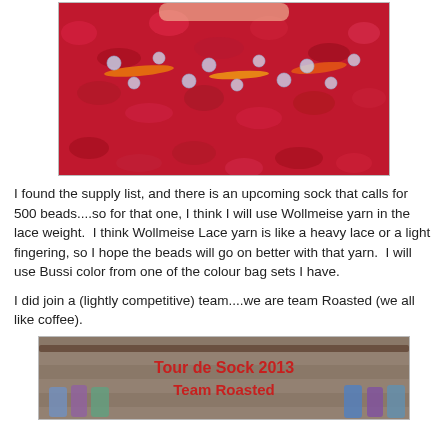[Figure (photo): Close-up photo of red and pink beaded knitting/crochet work with colorful beads (orange, yellow, clear) embedded in bright red yarn fabric.]
I found the supply list, and there is an upcoming sock that calls for 500 beads....so for that one, I think I will use Wollmeise yarn in the lace weight.  I think Wollmeise Lace yarn is like a heavy lace or a light fingering, so I hope the beads will go on better with that yarn.  I will use Bussi color from one of the colour bag sets I have.
I did join a (lightly competitive) team....we are team Roasted (we all like coffee).
[Figure (photo): Photo with red text overlay reading 'Tour de Sock 2013 Team Roasted' with skeins of yarn hanging on a wooden rod.]